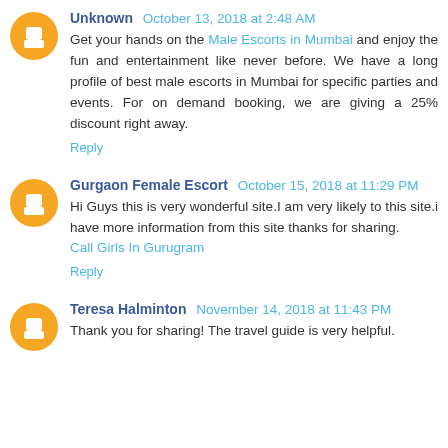Unknown October 13, 2018 at 2:48 AM
Get your hands on the Male Escorts in Mumbai and enjoy the fun and entertainment like never before. We have a long profile of best male escorts in Mumbai for specific parties and events. For on demand booking, we are giving a 25% discount right away.
Reply
Gurgaon Female Escort October 15, 2018 at 11:29 PM
Hi Guys this is very wonderful site.I am very likely to this site.i have more information from this site thanks for sharing. Call Girls In Gurugram
Reply
Teresa Halminton November 14, 2018 at 11:43 PM
Thank you for sharing! The travel guide is very helpful.